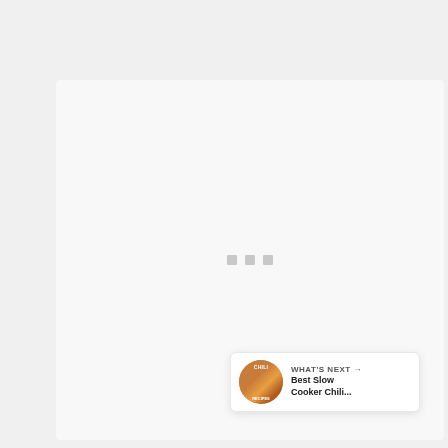[Figure (screenshot): A loading/placeholder content card with a light gray background filling most of the page area. Three small gray square loading indicator dots are centered in the card.]
[Figure (other): A teal/cyan circular floating action button with a white heart icon, positioned in the lower right of the page.]
[Figure (other): A white circular floating action button with a share/network icon, positioned below the heart button.]
[Figure (other): A 'What's Next' recommendation card in the bottom right corner showing a circular food thumbnail, 'WHAT'S NEXT →' label, and 'Best Slow Cooker Chili...' title text.]